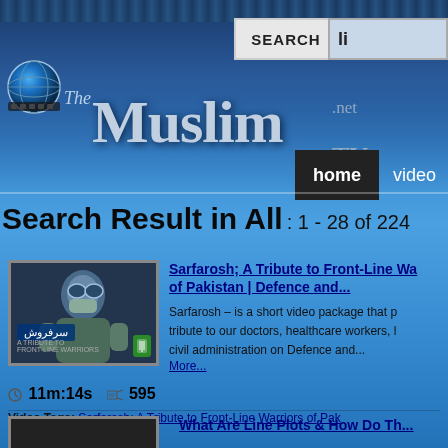[Figure (screenshot): TheMuslim.net TV website header with globe logo, silver Muslim text logo, search button, home and video navigation buttons]
Search Result in All: 1 - 28 of 224
[Figure (photo): Video thumbnail showing a person in medical/hazmat gear with Arabic text overlay and phone icon]
Sarfarosh; A Tribute to Front-Line Warriors of Pakistan | Defence and...
Sarfarosh – is a short video package that pays tribute to our doctors, healthcare workers, l civil administration on Defence and...
More...
11m:14s   595
Video Tags: Sarfarosh; A Tribute to Front-Line Warriors of Pakistan Defence Day 2020 | NCOC
What Are Line Plots & How Do Th...